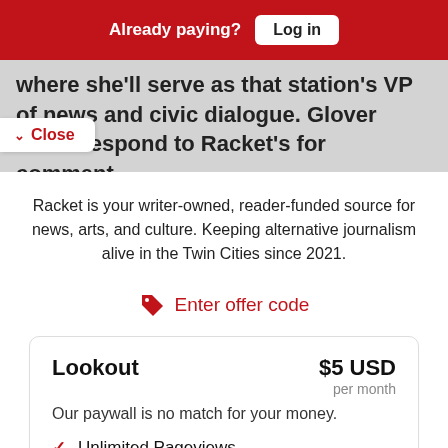Already paying? Log in
where she'll serve as that station's VP of news and civic dialogue. Glover didn't respond to Racket's for comment.
Close
Racket is your writer-owned, reader-funded source for news, arts, and culture. Keeping alternative journalism alive in the Twin Cities since 2021.
Enter offer code
Lookout $5 USD per month
Our paywall is no match for your money.
✓ Unlimited Pageviews
See ya, paywall!